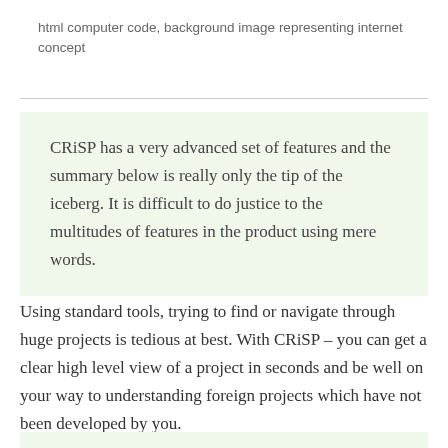html computer code, background image representing internet concept
CRiSP has a very advanced set of features and the summary below is really only the tip of the iceberg. It is difficult to do justice to the multitudes of features in the product using mere words.
Using standard tools, trying to find or navigate through huge projects is tedious at best. With CRiSP – you can get a clear high level view of a project in seconds and be well on your way to understanding foreign projects which have not been developed by you.